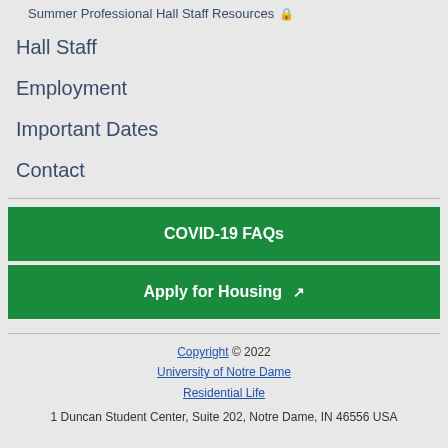Summer Professional Hall Staff Resources 🔒
Hall Staff
Employment
Important Dates
Contact
COVID-19 FAQs
Apply for Housing ↗
Copyright © 2022
University of Notre Dame
Residential Life
1 Duncan Student Center, Suite 202, Notre Dame, IN 46556 USA